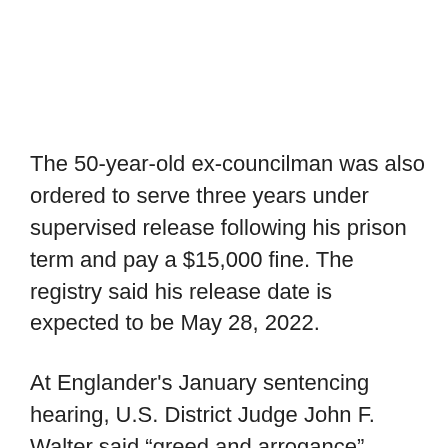The 50-year-old ex-councilman was also ordered to serve three years under supervised release following his prison term and pay a $15,000 fine. The registry said his release date is expected to be May 28, 2022.
At Englander's January sentencing hearing, U.S. District Judge John F. Walter said “greed and arrogance” appeared to be the motivation for lying to the FBI repeatedly on three separate occasions and that Englander